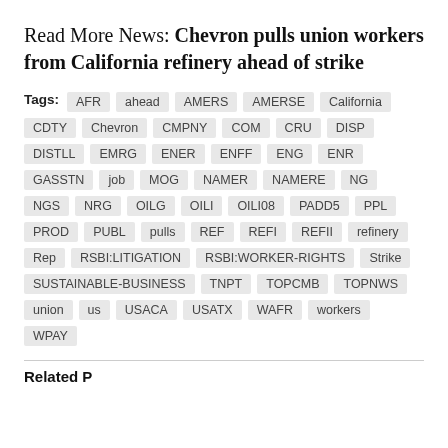Read More News: Chevron pulls union workers from California refinery ahead of strike
Tags: AFR ahead AMERS AMERSE California CDTY Chevron CMPNY COM CRU DISP DISTLL EMRG ENER ENFF ENG ENR GASSTN job MOG NAMER NAMERE NG NGS NRG OILG OILI OILI08 PADD5 PPL PROD PUBL pulls REF REFI REFII refinery Rep RSBI:LITIGATION RSBI:WORKER-RIGHTS Strike SUSTAINABLE-BUSINESS TNPT TOPCMB TOPNWS union us USACA USATX WAFR workers WPAY
Related P...